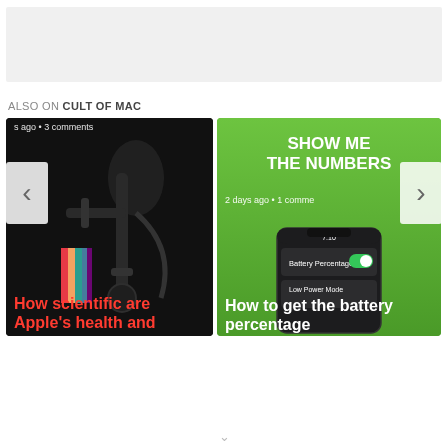[Figure (other): Gray advertisement banner placeholder at top of page]
ALSO ON CULT OF MAC
[Figure (photo): Article card 1: Dark background with microscope/scientific equipment image. Meta text: 's ago • 3 comments'. Title: 'How scientific are Apple's health and']
[Figure (photo): Article card 2: Green background with 'SHOW ME THE NUMBERS' headline and iPhone screenshot showing battery percentage settings. Meta text: '2 days ago • 1 comme'. Title: 'How to get the battery percentage']